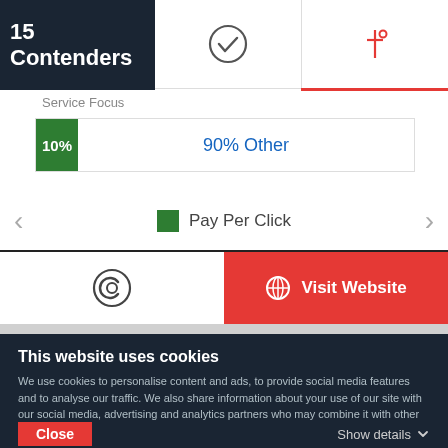15 Contenders
[Figure (other): Checkmark icon in circle]
[Figure (other): Filter/settings icon with red underline indicating active state]
Service Focus
10%  90% Other
Pay Per Click
[Figure (other): Copyright/C in circle icon]
Visit Website
This website uses cookies
We use cookies to personalise content and ads, to provide social media features and to analyse our traffic. We also share information about your use of our site with our social media, advertising and analytics partners who may combine it with other information that you've provided to them or that they've collected from your use of their services. You agree to our cookies if you continue to use our website.
Close
Show details